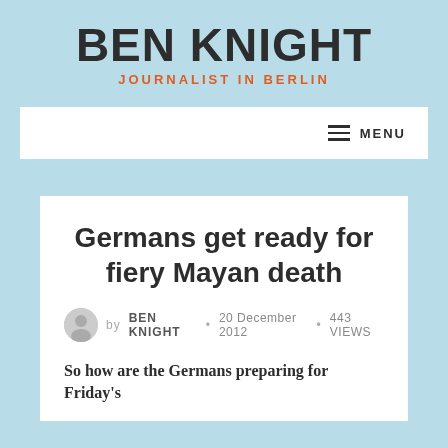BEN KNIGHT
JOURNALIST IN BERLIN
MENU
Germans get ready for fiery Mayan death
by BEN KNIGHT • 20 December 2012 • 443 VIEWS
So how are the Germans preparing for Friday's